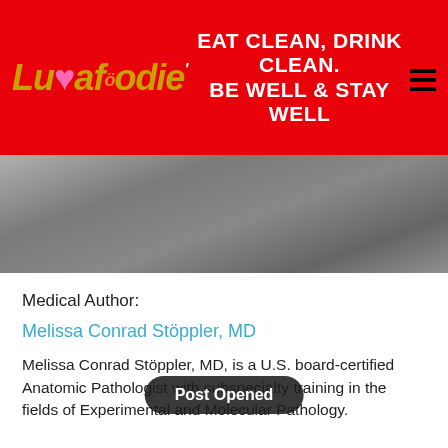Luvafoodie | EAT CLEAN, DRINK CLEAN. BE WELL & STAY WELL
[Figure (photo): Grayscale background image, blurred, appears to show a person or food item in muted gray tones]
Medical Author:
Melissa Conrad Stöppler, MD
Melissa Conrad Stöppler, MD, is a U.S. board-certified Anatomic Pathologist with subspecialty training in the fields of Experimental and Molecular Pathology.
Post Opened